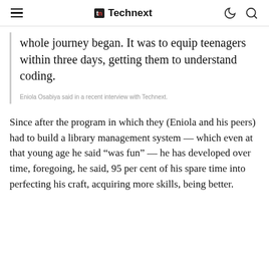Technext
whole journey began. It was to equip teenagers within three days, getting them to understand coding.
Eniola Osabiya said in a recent interview with Technext.
Since after the program in which they (Eniola and his peers) had to build a library management system — which even at that young age he said “was fun” — he has developed over time, foregoing, he said, 95 per cent of his spare time into perfecting his craft, acquiring more skills, being better.